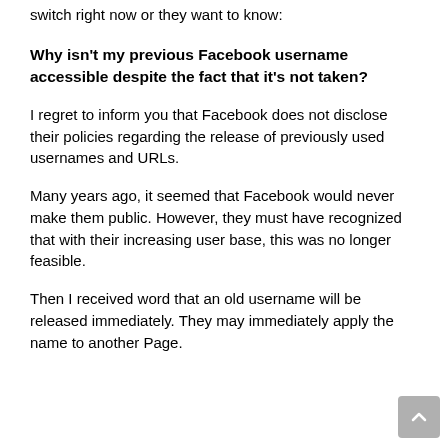switch right now or they want to know:
Why isn't my previous Facebook username accessible despite the fact that it's not taken?
I regret to inform you that Facebook does not disclose their policies regarding the release of previously used usernames and URLs.
Many years ago, it seemed that Facebook would never make them public. However, they must have recognized that with their increasing user base, this was no longer feasible.
Then I received word that an old username will be released immediately. They may immediately apply the name to another Page.